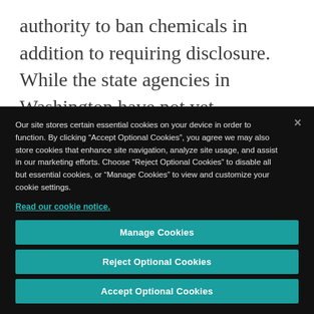authority to ban chemicals in addition to requiring disclosure. While the state agencies in Washington have not yet developed the vast database that
Our site stores certain essential cookies on your device in order to function. By clicking “Accept Optional Cookies”, you agree we may also store cookies that enhance site navigation, analyze site usage, and assist in our marketing efforts. Choose “Reject Optional Cookies” to disable all but essential cookies, or “Manage Cookies” to view and customize your cookie settings.
Read our cookie notice.
Manage Cookies
Reject Optional Cookies
Accept Optional Cookies